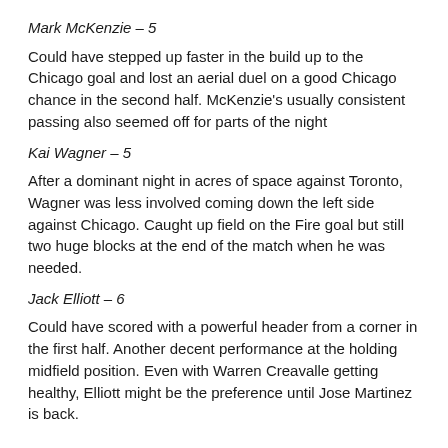Mark McKenzie – 5
Could have stepped up faster in the build up to the Chicago goal and lost an aerial duel on a good Chicago chance in the second half. McKenzie's usually consistent passing also seemed off for parts of the night
Kai Wagner – 5
After a dominant night in acres of space against Toronto, Wagner was less involved coming down the left side against Chicago. Caught up field on the Fire goal but still two huge blocks at the end of the match when he was needed.
Jack Elliott – 6
Could have scored with a powerful header from a corner in the first half. Another decent performance at the holding midfield position. Even with Warren Creavalle getting healthy, Elliott might be the preference until Jose Martinez is back.